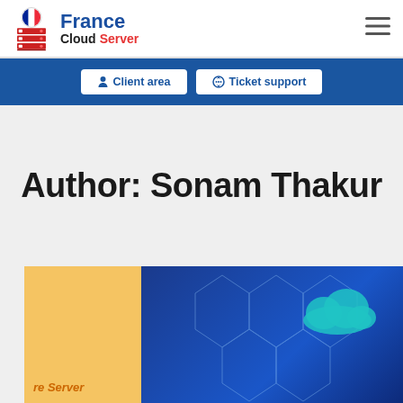France Cloud Server — navigation header with logo and hamburger menu
Client area | Ticket support
Author: Sonam Thakur
[Figure (screenshot): Partially visible banner image with orange/yellow left section showing 're Server' text and blue right section with cloud/server illustration]